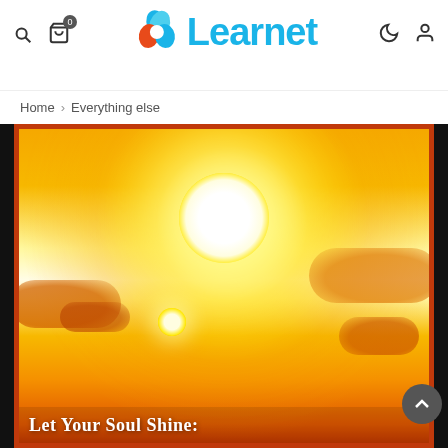Learnet
Home > Everything else
[Figure (photo): Book cover showing a bright sun with radiant glow against an orange and golden sky with clouds. Title text at the bottom reads 'Let Your Soul Shine:']